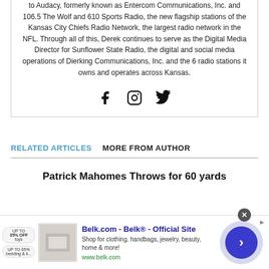to Audacy, formerly known as Entercom Communications, Inc. and 106.5 The Wolf and 610 Sports Radio, the new flagship stations of the Kansas City Chiefs Radio Network, the largest radio network in the NFL. Through all of this, Derek continues to serve as the Digital Media Director for Sunflower State Radio, the digital and social media operations of Dierking Communications, Inc. and the 6 radio stations it owns and operates across Kansas.
[Figure (illustration): Social media icons: Facebook, Instagram, Twitter]
RELATED ARTICLES  MORE FROM AUTHOR
Patrick Mahomes Throws for 60 yards
[Figure (screenshot): Belk.com advertisement banner with product image, title 'Belk.com - Belk® - Official Site', description 'Shop for clothing, handbags, jewelry, beauty, home & more!', URL www.belk.com, and a blue navigation arrow button]